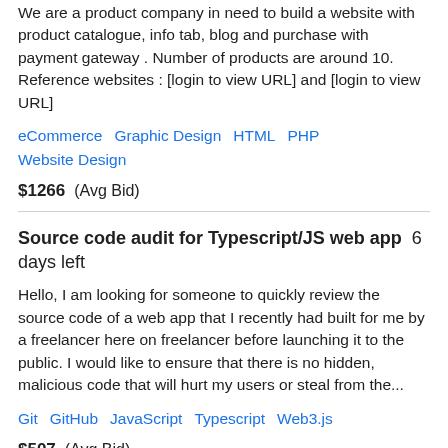We are a product company in need to build a website with product catalogue, info tab, blog and purchase with payment gateway . Number of products are around 10. Reference websites : [login to view URL] and [login to view URL]
eCommerce   Graphic Design   HTML   PHP   Website Design
$1266  (Avg Bid)
Source code audit for Typescript/JS web app  6 days left
Hello, I am looking for someone to quickly review the source code of a web app that I recently had built for me by a freelancer here on freelancer before launching it to the public. I would like to ensure that there is no hidden, malicious code that will hurt my users or steal from the...
Git   GitHub   JavaScript   Typescript   Web3.js
$507  (Avg Bid)